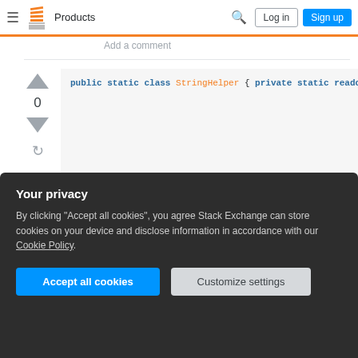≡  Stack Overflow  Products  🔍  Log in  Sign up
Add a comment
[Figure (screenshot): Code snippet showing C# class StringHelper with private static readonly Random random, private const int randomSymbolsDefaultC, private const string availableChars, private static int randomSymbolsIndex, public static string GetRandomSymbols(), and opening brace of method body, ending with .Select(s => {]
Your privacy
By clicking "Accept all cookies", you agree Stack Exchange can store cookies on your device and disclose information in accordance with our Cookie Policy.
Accept all cookies  Customize settings